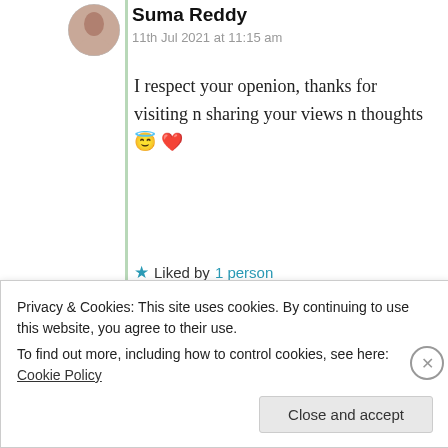Suma Reddy
11th Jul 2021 at 11:15 am
I respect your openion, thanks for visiting n sharing your views n thoughts 😇 ❤️
★ Liked by 1 person
Log in to Reply
Privacy & Cookies: This site uses cookies. By continuing to use this website, you agree to their use.
To find out more, including how to control cookies, see here: Cookie Policy
Close and accept